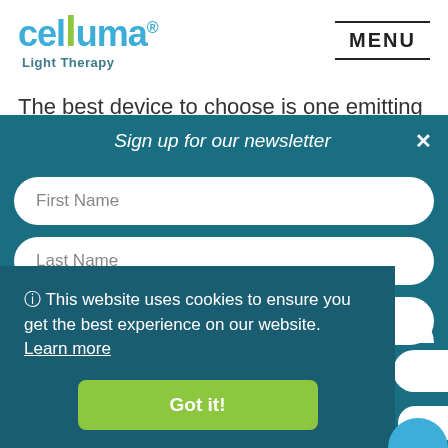[Figure (logo): Celluma Light Therapy logo with teal and green branding]
MENU
The best device to choose is one emitting evidence-
Sign up for our newsletter
First Name
Last Name
Email Address
🛈 This website uses cookies to ensure you get the best experience on our website. Learn more
Got it!